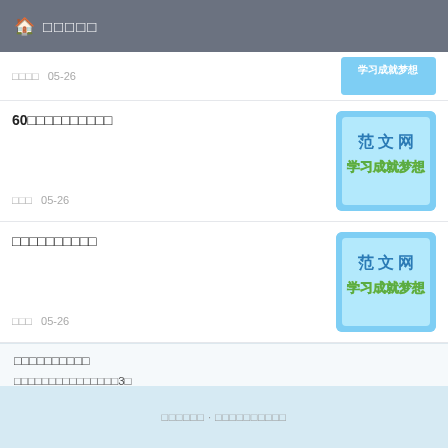🏠 □□□□□
□□□□  05-26
60□□□□□□□□□□
□□□  05-26
[Figure (illustration): 范文网 学习成就梦想 badge image]
□□□□□□□□□□
□□□  05-26
[Figure (illustration): 范文网 学习成就梦想 badge image]
□□□□□□□□□□
□□□□□□□□□□□□□□□3□
□□□□□□ · □□□□□□□□□□